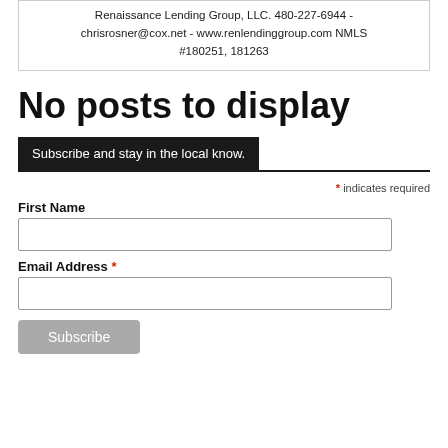Renaissance Lending Group, LLC. 480-227-6944 - chrisrosner@cox.net - www.renlendinggroup.com NMLS #180251, 181263
No posts to display
Subscribe and stay in the local know.
* indicates required
First Name
Email Address *
Subscribe